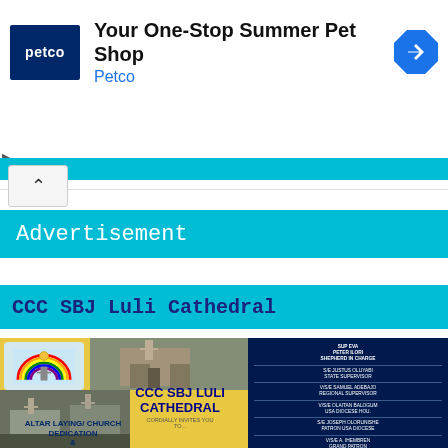[Figure (screenshot): Petco advertisement banner: logo, 'Your One--Stop Summer Pet Shop', 'Petco' subtitle, and navigation icon]
Advertisement
CCC SBJ Luli Cathedral
[Figure (photo): CCC SBJ Luli Cathedral flyer showing church photos, rainbow logo, text 'CCC SBJ LULI CATHEDRAL CORDIALLY INVITES YOU TO... ALTAR LAYING/ CHURCH DEDICATION &' and a dark right panel listing church officials: SUP EVA PETER ILORI SHEPHERD IN CHARGE, S/E JUSTUS OLUYABI STATE SUPERVISOR, V/S/E SAMUEL ADEBAJO REGIONAL SUPERVISOR, V/S/E OLAITAN BALOGUM USA DIOCESE HOU., S/E JOSEPH OLORUNISHE PATRON USA DIOCESE, V/S/E A. IHEMBREN GRAND PATRON, M/S/T A. AROSE IYE HQ REP., M/S/T AIML]